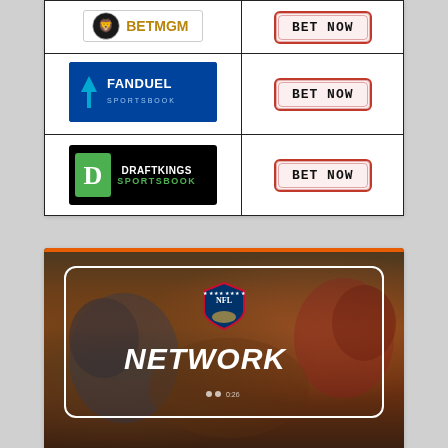[Figure (other): Sportsbook comparison table with BetMGM, FanDuel Sportsbook, and DraftKings Sportsbook logos alongside BET NOW buttons]
[Figure (other): NFL Network promotional image with football players in background, NFL Network logo overlay, and FuboTV 'Start Your Free Trial' banner at bottom]